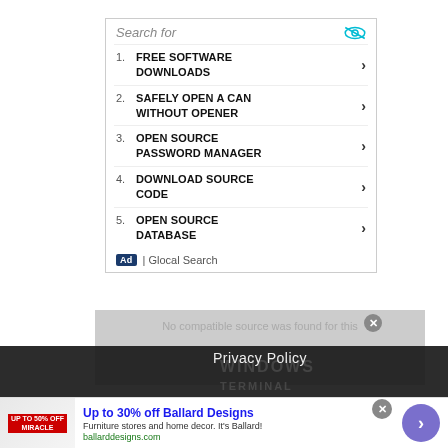Search for
1. FREE SOFTWARE DOWNLOADS
2. SAFELY OPEN A CAN WITHOUT OPENER
3. OPEN SOURCE PASSWORD MANAGER
4. DOWNLOAD SOURCE CODE
5. OPEN SOURCE DATABASE
Ad | Glocal Search
No compatible source was found for this
Privacy Policy
Up to 30% off Ballard Designs
Furniture stores and home decor. It's Ballard!
ballarddesigns.com